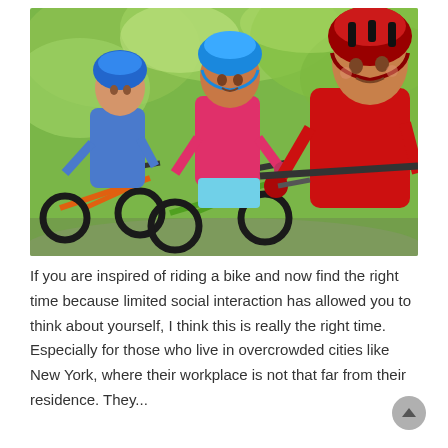[Figure (photo): Three children wearing bicycle helmets riding bikes outdoors in a green park setting. The child on the right wears a red shirt and red/black helmet, the middle child wears a pink shirt and blue helmet, and the child on the left wears a blue shirt and blue helmet. The bikes are orange and green.]
If you are inspired of riding a bike and now find the right time because limited social interaction has allowed you to think about yourself, I think this is really the right time. Especially for those who live in overcrowded cities like New York, where their workplace is not that far from their residence. They...